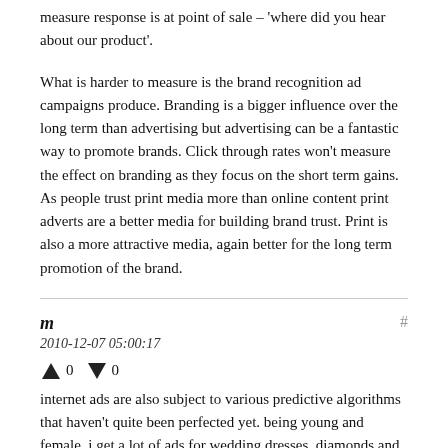measure response is at point of sale – 'where did you hear about our product'.
What is harder to measure is the brand recognition ad campaigns produce. Branding is a bigger influence over the long term than advertising but advertising can be a fantastic way to promote brands. Click through rates won't measure the effect on branding as they focus on the short term gains. As people trust print media more than online content print adverts are a better media for building brand trust. Print is also a more attractive media, again better for the long term promotion of the brand.
m
2010-12-07 05:00:17
↑ 0 ↓ 0
internet ads are also subject to various predictive algorithms that haven't quite been perfected yet. being young and female, i get a lot of ads for wedding dresses, diamonds and weight loss, none of which interest me.